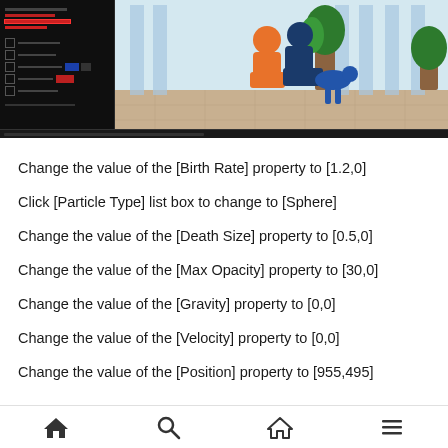[Figure (screenshot): Screenshot of a software interface showing a dark panel on the left with red highlighted properties and an illustration of two people sitting on the right side against a blue and beige background.]
Change the value of the [Birth Rate] property to [1.2,0]
Click [Particle Type] list box to change to [Sphere]
Change the value of the [Death Size] property to [0.5,0]
Change the value of the [Max Opacity] property to [30,0]
Change the value of the [Gravity] property to [0,0]
Change the value of the [Velocity] property to [0,0]
Change the value of the [Position] property to [955,495]